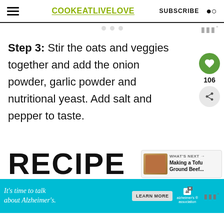COOKEATLIVELOVE  SUBSCRIBE
Step 3: Stir the oats and veggies together and add the onion powder, garlic powder and nutritional yeast. Add salt and pepper to taste.
RECIPE
[Figure (screenshot): What's Next panel showing Making a Tofu Ground Beef...]
It's time to talk about Alzheimer's.  LEARN MORE